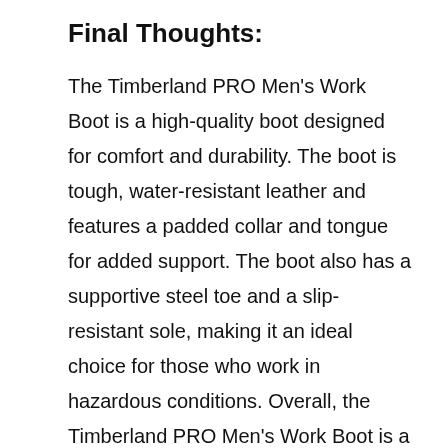Final Thoughts:
The Timberland PRO Men's Work Boot is a high-quality boot designed for comfort and durability. The boot is tough, water-resistant leather and features a padded collar and tongue for added support. The boot also has a supportive steel toe and a slip-resistant sole, making it an ideal choice for those who work in hazardous conditions. Overall, the Timberland PRO Men's Work Boot is a well-crafted boot built to last.
Features: